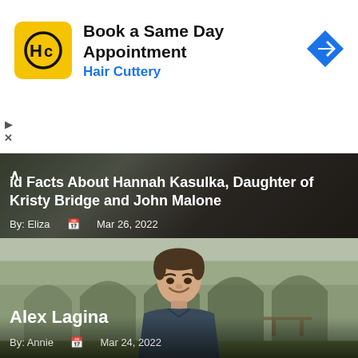[Figure (other): Hair Cuttery advertisement banner with logo, title 'Book a Same Day Appointment', subtitle 'Hair Cuttery', and navigation arrow icon]
d Facts About Hannah Kasulka, Daughter of Kristy Bridge and John Malone
By: Eliza  Mar 26, 2022
[Figure (photo): Photo of Alex Lagina, a young man smiling, standing outdoors in front of stone arch colonnade, wearing a dark blue shirt]
Alex Lagina
By: Annie  Mar 24, 2022